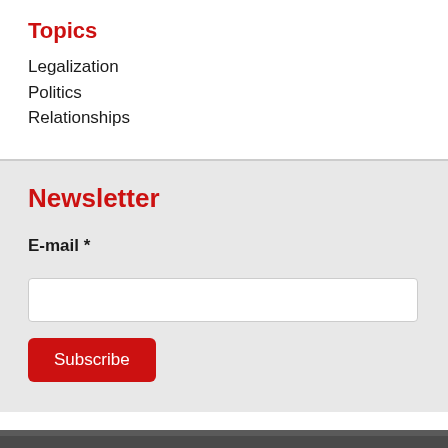Topics
Legalization
Politics
Relationships
Newsletter
E-mail *
Subscribe
Disclosures